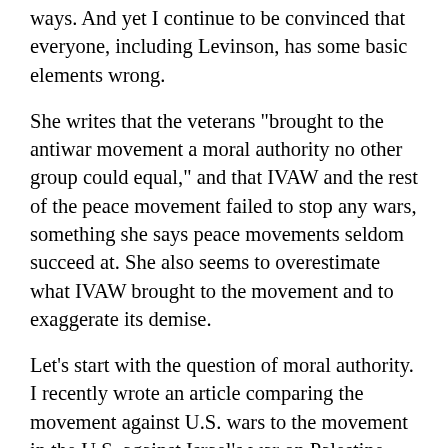ways. And yet I continue to be convinced that everyone, including Levinson, has some basic elements wrong.
She writes that the veterans "brought to the antiwar movement a moral authority no other group could equal," and that IVAW and the rest of the peace movement failed to stop any wars, something she says peace movements seldom succeed at. She also seems to overestimate what IVAW brought to the movement and to exaggerate its demise.
Let's start with the question of moral authority. I recently wrote an article comparing the movement against U.S. wars to the movement in the U.S. against Israel's war on Palestine. The latter, I realized, faces stiff opposition and charges of anti-Semitism but not charges of treason. Its setting in the United States and its distance from Israeli society perhaps combine to produce a movement that I've never heard swear its allegiance to "support" of Israeli troops. I've heard cheers for refuseniks, but